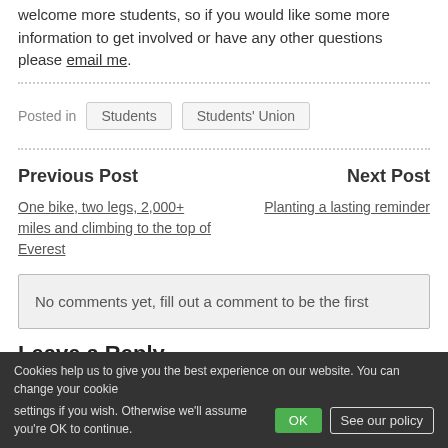welcome more students, so if you would like some more information to get involved or have any other questions please email me.
Posted in   Students   Students' Union
Previous Post
One bike, two legs, 2,000+ miles and climbing to the top of Everest
Next Post
Planting a lasting reminder
No comments yet, fill out a comment to be the first
Leave a Reply
Your email address will not be published. Required fields are marked *
Comment *
Cookies help us to give you the best experience on our website. You can change your cookie settings if you wish. Otherwise we'll assume you're OK to continue.